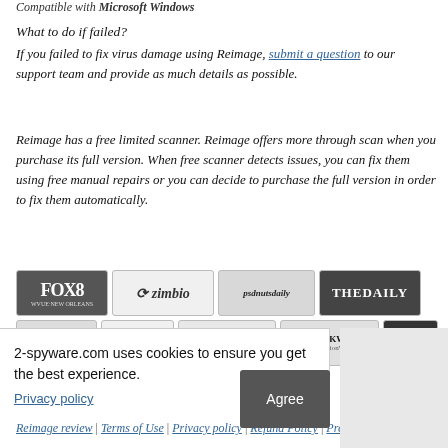Compatible with Microsoft Windows
What to do if failed?
If you failed to fix virus damage using Reimage, submit a question to our support team and provide as much details as possible.
Reimage has a free limited scanner. Reimage offers more through scan when you purchase its full version. When free scanner detects issues, you can fix them using free manual repairs or you can decide to purchase the full version in order to fix them automatically.
[Figure (logo): Row of media logos: FOX8, zimbio, psdnuts daily, THE DAILY, PCWorld, eWEEK, INTEROP/Redmond, NETWORKWORLD/InformationWeek, DE]
press
Reimage review | Terms of Use | Privacy policy | Refund Policy | Press | Uninstall guide
2-spyware.com uses cookies to ensure you get the best experience.
Privacy policy
Agree